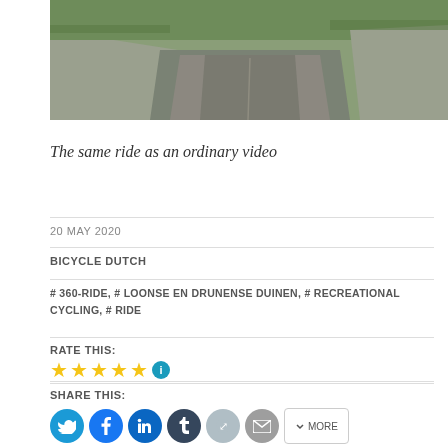[Figure (photo): Aerial or elevated view of a rural dirt/asphalt road lined with grass and sparse trees, shown from above]
The same ride as an ordinary video
20 MAY 2020
BICYCLE DUTCH
# 360-RIDE, # LOONSE EN DRUNENSE DUINEN, # RECREATIONAL CYCLING, # RIDE
RATE THIS:
[Figure (other): Five gold star rating icons followed by a blue info circle icon]
SHARE THIS:
[Figure (other): Social share buttons: Twitter (blue), Facebook (blue), LinkedIn (dark blue), Tumblr (dark), Pinterest (light), Email (grey), and a MORE button]